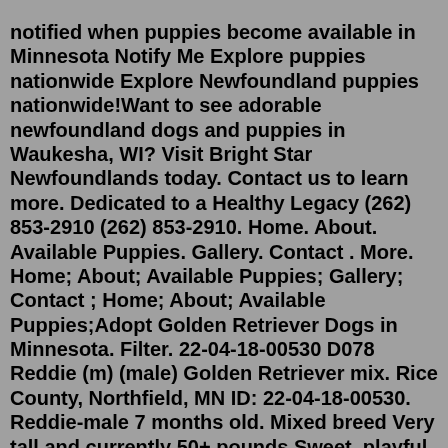notified when puppies become available in Minnesota Notify Me Explore puppies nationwide Explore Newfoundland puppies nationwide!Want to see adorable newfoundland dogs and puppies in Waukesha, WI? Visit Bright Star Newfoundlands today. Contact us to learn more. Dedicated to a Healthy Legacy (262) 853-2910 (262) 853-2910. Home. About. Available Puppies. Gallery. Contact . More. Home; About; Available Puppies; Gallery; Contact ; Home; About; Available Puppies;Adopt Golden Retriever Dogs in Minnesota. Filter. 22-04-18-00530 D078 Reddie (m) (male) Golden Retriever mix. Rice County, Northfield, MN ID: 22-04-18-00530. Reddie-male 7 months old. Mixed breed Very tall and currently 50+ pounds Sweet, playful, smart Find more pics. Read more » ...We utilize genetic and radiologic testing on AKC registered parents as recommended by the AKC and the Great Pyrenees Club of America. Puppies are badger marked or all white. You are welcome to come visit our home upon